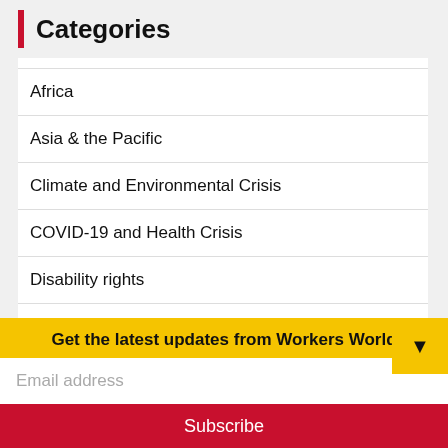Categories
Africa
Asia & the Pacific
Climate and Environmental Crisis
COVID-19 and Health Crisis
Disability rights
Editorials
Europe
Global
Human needs before profits
Get the latest updates from Workers World
Email address
Subscribe